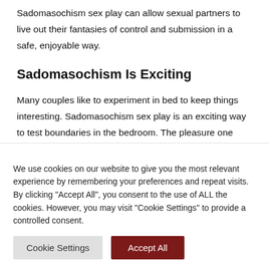Sadomasochism sex play can allow sexual partners to live out their fantasies of control and submission in a safe, enjoyable way.
Sadomasochism Is Exciting
Many couples like to experiment in bed to keep things interesting. Sadomasochism sex play is an exciting way to test boundaries in the bedroom. The pleasure one receives from pain could be in part due to endorphins and
We use cookies on our website to give you the most relevant experience by remembering your preferences and repeat visits. By clicking "Accept All", you consent to the use of ALL the cookies. However, you may visit "Cookie Settings" to provide a controlled consent.